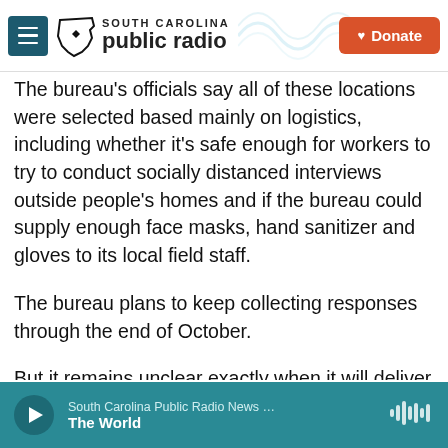[Figure (logo): South Carolina Public Radio logo with hamburger menu button and Donate button in header bar]
The bureau's officials say all of these locations were selected based mainly on logistics, including whether it's safe enough for workers to try to conduct socially distanced interviews outside people's homes and if the bureau could supply enough face masks, hand sanitizer and gloves to its local field staff.
The bureau plans to keep collecting responses through the end of October.
But it remains unclear exactly when it will deliver the results of the count.
[Figure (screenshot): Audio player bar at bottom showing South Carolina Public Radio News ... / The World with play button and waveform icon]